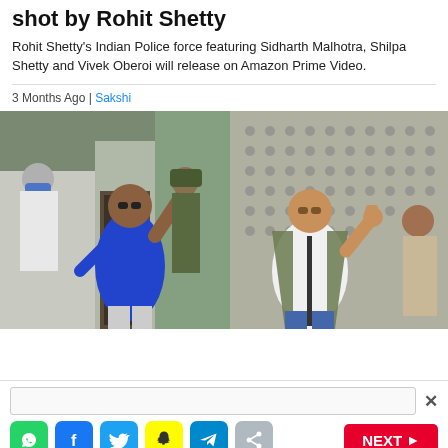shot by Rohit Shetty
Rohit Shetty's Indian Police force featuring Sidharth Malhotra, Shilpa Shetty and Vivek Oberoi will release on Amazon Prime Video.
3 Months Ago | Sakshi
[Figure (photo): Two men waving and giving thumbs up outside a building. Left man in blue kurta and sunglasses, right man in white shirt with olive jacket and sunglasses. Security personnel visible in background.]
[Figure (infographic): Bottom bar with search input, close button, social share icons (WhatsApp, Facebook, Twitter, Snapchat, Telegram, Share), and a red NEXT button.]